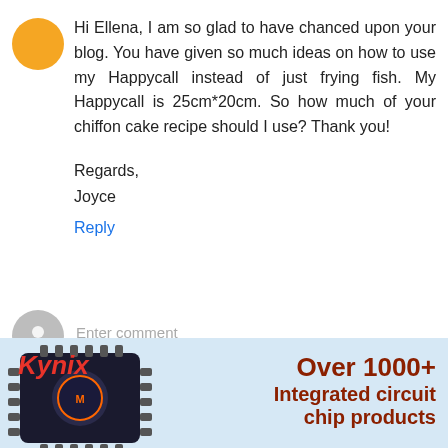Hi Ellena, I am so glad to have chanced upon your blog. You have given so much ideas on how to use my Happycall instead of just frying fish. My Happycall is 25cm*20cm. So how much of your chiffon cake recipe should I use? Thank you!
Regards,
Joyce
Reply
[Figure (other): Gray default user avatar circle with silhouette icon, next to an 'Enter comment' text input field with bottom border]
[Figure (other): Kynix advertisement banner with light blue background, Kynix logo in red italic, microchip image on left, text reading 'Over 1000+ Integrated circuit chip products' on right in dark red bold]